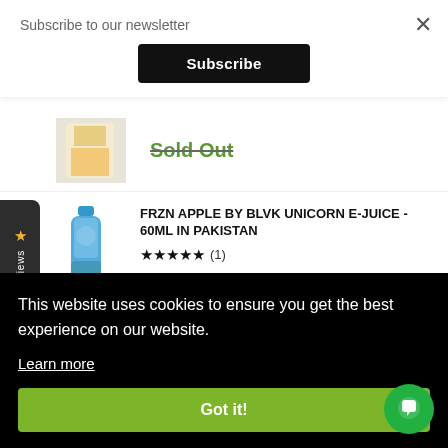Subscribe to our newsletter
Subscribe
Sold Out
FRZN APPLE BY BLVK UNICORN E-JUICE - 60ML IN PAKISTAN
★★★★★ (1)
Reviews
This website uses cookies to ensure you get the best experience on our website.
Learn more
Got it!